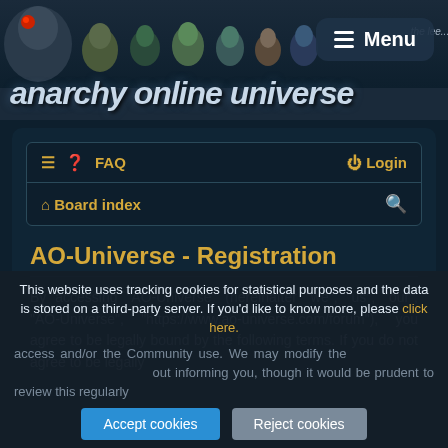[Figure (illustration): Anarchy Online Universe website header banner with animated bird/animal characters in a row, title text 'anarchy online universe' in large stylized italic font, subtitle 'the lee...' in small italic text, and a dark rounded Menu button with hamburger icon in top right corner]
[Figure (screenshot): Forum navigation bar with hamburger icon, FAQ link, Login link on first row; Board index link and search icon on second row. All items in gold/yellow color on dark background.]
AO-Universe - Registration
By accessing “AO-Universe” (hereinafter “we”, “us”, “our”, “AO-Universe”, “https://www.ao-universe.com/forum”), you agree to be legally bound by the following terms. If you do not agree to be legally
This website uses tracking cookies for statistical purposes and the data is stored on a third-party server. If you’d like to know more, please click here.
access and/or the Community use. We may modify these at any time and we’ll do our utmost in informing you, though it would be prudent to review this regularly